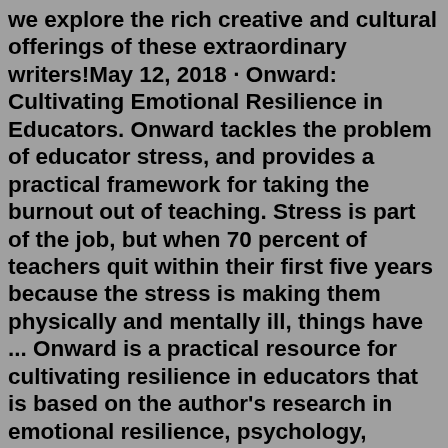we explore the rich creative and cultural offerings of these extraordinary writers!May 12, 2018 · Onward: Cultivating Emotional Resilience in Educators. Onward tackles the problem of educator stress, and provides a practical framework for taking the burnout out of teaching. Stress is part of the job, but when 70 percent of teachers quit within their first five years because the stress is making them physically and mentally ill, things have ... Onward is a practical resource for cultivating resilience in educators that is based on the author's research in emotional resilience, psychology, systems thinking, and change management and on ten years of testing in schools and offices. Onward outlines a conceptual framework with four parts: who we are, where we are, what we do, and how we are. Onward is a practical resource for cultivating resilience in educators that is based on the author's research in emotional resilience, psychology, systems thinking, and change management and on ten years of testing in schools and offices. Onward outlines conceptual framework...